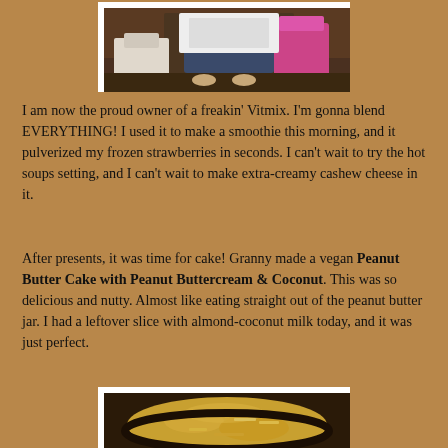[Figure (photo): A person sitting on the floor surrounded by gift bags and presents, holding a Vitamix box.]
I am now the proud owner of a freakin' Vitmix. I'm gonna blend EVERYTHING! I used it to make a smoothie this morning, and it pulverized my frozen strawberries in seconds. I can't wait to try the hot soups setting, and I can't wait to make extra-creamy cashew cheese in it.
After presents, it was time for cake! Granny made a vegan Peanut Butter Cake with Peanut Buttercream & Coconut. This was so delicious and nutty. Almost like eating straight out of the peanut butter jar. I had a leftover slice with almond-coconut milk today, and it was just perfect.
[Figure (photo): A Peanut Butter Cake with Peanut Buttercream and Coconut topping, viewed from above.]